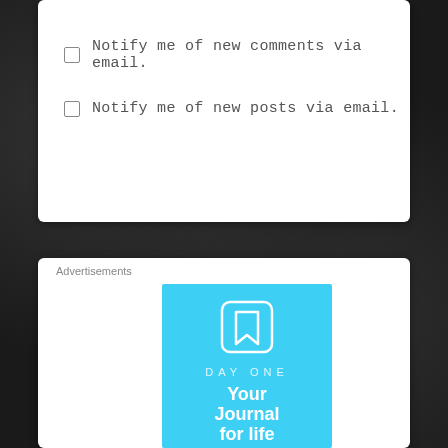Notify me of new comments via email.
Notify me of new posts via email.
Advertisements
[Figure (logo): Day One app advertisement banner with sky-blue background, a journal/bookmark icon, the text 'DAY ONE' in spaced letters, and 'Your Journal for life' in large white bold text]